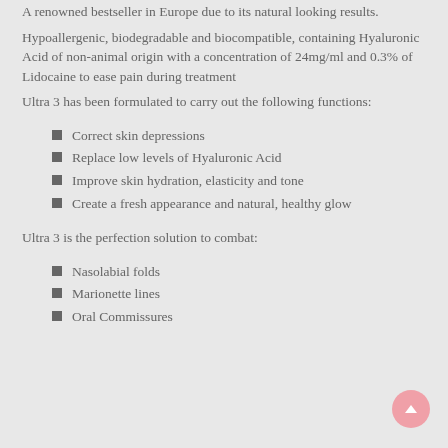A renowned bestseller in Europe due to its natural looking results.
Hypoallergenic, biodegradable and biocompatible, containing Hyaluronic Acid of non-animal origin with a concentration of 24mg/ml and 0.3% of Lidocaine to ease pain during treatment
Ultra 3 has been formulated to carry out the following functions:
Correct skin depressions
Replace low levels of Hyaluronic Acid
Improve skin hydration, elasticity and tone
Create a fresh appearance and natural, healthy glow
Ultra 3 is the perfection solution to combat:
Nasolabial folds
Marionette lines
Oral Commissures